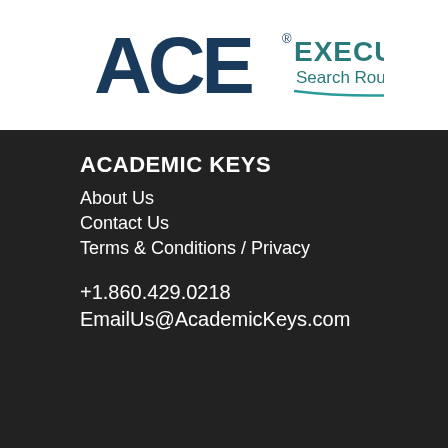[Figure (logo): ACE Executive Search Roundtable logo with stylized ACE letters in dark blue and teal text]
ACADEMIC KEYS
About Us
Contact Us
Terms & Conditions / Privacy
+1.860.429.0218
EmailUs@AcademicKeys.com
Follow Us
[Figure (logo): Infolinks logo in blue banner]
[Figure (screenshot): Amazon.com advertisement: Online Shopping for Everyone. Shop at Amazon. Free Shipping with Prime. Best Deals Ever! amazon.com]